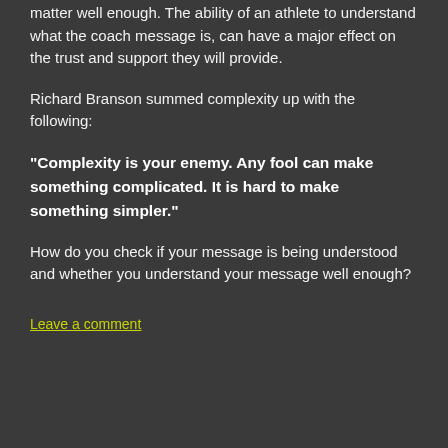matter well enough. The ability of an athlete to understand what the coach message is, can have a major effect on the trust and support they will provide.
Richard Branson summed complexity up with the following:
“Complexity is your enemy. Any fool can make something complicated. It is hard to make something simpler.”
How do you check if your message is being understood and whether you understand your message well enough?
Leave a comment